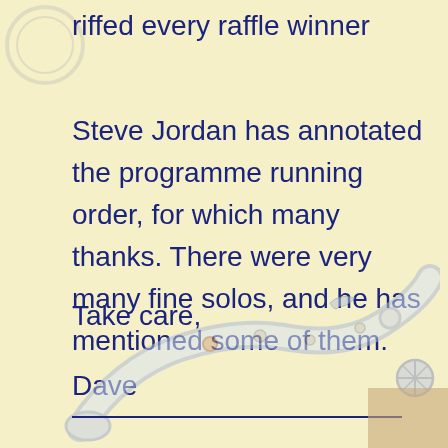riffed every raffle winner
Steve Jordan has annotated the programme running order, for which many thanks. There were very many fine solos, and he has mentioned some of them.
Take care,
Dave
[Figure (illustration): Decorative illustration of a saxophone (close-up of the bell and keys) rendered in light blue/grey tones as a watermark-style background image.]